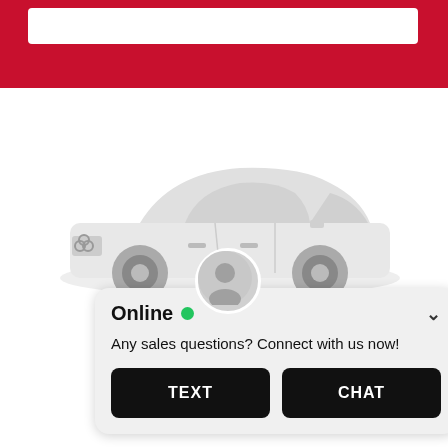[Figure (screenshot): Red navigation bar at top of automotive website with white search box]
[Figure (photo): White Audi sedan car displayed on white background, partial view]
[Figure (screenshot): Live chat widget with Online status indicator (green dot), message 'Any sales questions? Connect with us now!' and two buttons: TEXT and CHAT. An agent avatar circle appears above the widget.]